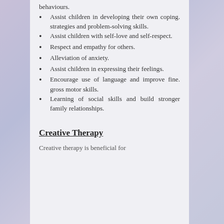Assist children in developing their own coping. strategies and problem-solving skills.
Assist children with self-love and self-respect.
Respect and empathy for others.
Alleviation of anxiety.
Assist children in expressing their feelings.
Encourage use of language and improve fine. gross motor skills.
Learning of social skills and build stronger family relationships.
Creative Therapy
Creative therapy is beneficial for